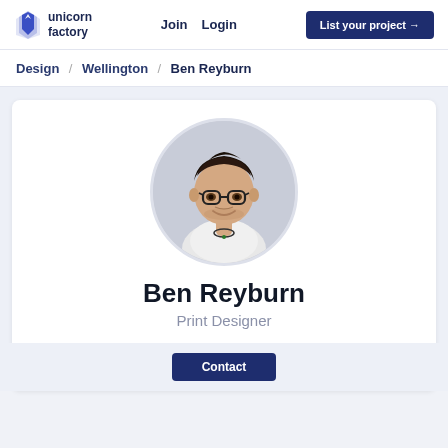unicorn factory | Join Login | List your project →
Design / Wellington / Ben Reyburn
[Figure (photo): Circular profile photo of Ben Reyburn, a young man with dark hair, glasses, and a light grey shirt, smiling.]
Ben Reyburn
Print Designer